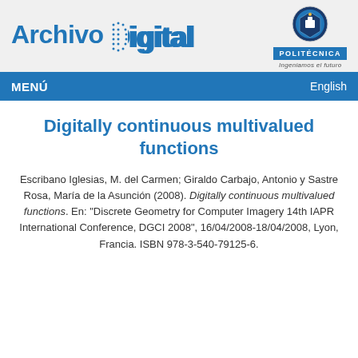[Figure (logo): Archivo Digital logo in blue bold text with dotted D pattern, and Universidad Politécnica emblem with shield, blue badge reading POLITÉCNICA, and tagline 'Ingeniamos el futuro']
MENÚ | English
Digitally continuous multivalued functions
Escribano Iglesias, M. del Carmen; Giraldo Carbajo, Antonio y Sastre Rosa, María de la Asunción (2008). Digitally continuous multivalued functions. En: "Discrete Geometry for Computer Imagery 14th IAPR International Conference, DGCI 2008", 16/04/2008-18/04/2008, Lyon, Francia. ISBN 978-3-540-79125-6.